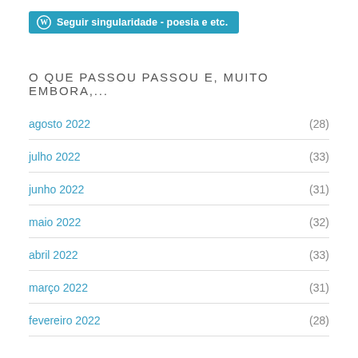Seguir singularidade - poesia e etc.
O QUE PASSOU PASSOU E, MUITO EMBORA,...
agosto 2022 (28)
julho 2022 (33)
junho 2022 (31)
maio 2022 (32)
abril 2022 (33)
março 2022 (31)
fevereiro 2022 (28)